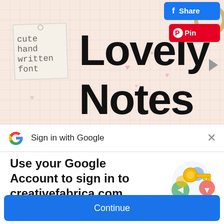[Figure (illustration): Creative Fabrica 'Lovely Notes' font product image showing a cute handwritten font on a pink grid background with decorative hearts and tag reading 'cute hand written font'. Facebook Share and Pinterest Pin buttons visible in top right. Navigation arrow on right side.]
Sign in with Google
Use your Google Account to sign in to creativefabrica.com
No more passwords to remember. Signing in is fast, simple and secure.
[Figure (illustration): Google sign-in illustration with a golden key, colorful circles/shields in blue, green, yellow and pink]
Continue